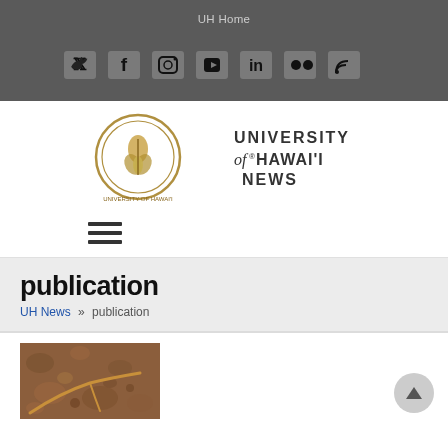UH Home
[Figure (logo): Social media icons: Twitter, Facebook, Instagram, YouTube, LinkedIn, Flickr, RSS]
[Figure (logo): University of Hawai'i News logo with circular seal and text]
[Figure (infographic): Hamburger menu icon (three horizontal lines)]
publication
UH News » publication
[Figure (photo): Close-up photo of soil with a root or seed visible]